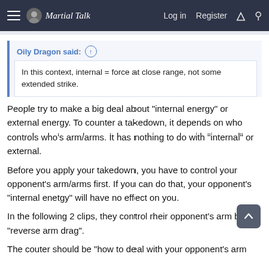Martial Talk — Log in  Register
Oily Dragon said: ↑
In this context, internal = force at close range, not some extended strike.
People try to make a big deal about "internal energy" or external energy. To counter a takedown, it depends on who controls who's arm/arms. It has nothing to do with "internal" or external.
Before you apply your takedown, you have to control your opponent's arm/arms first. If you can do that, your opponent's "internal enetgy" will have no effect on you.
In the following 2 clips, they control rheir opponent's arm by "reverse arm drag".
The couter should be "how to deal with your opponent's arm